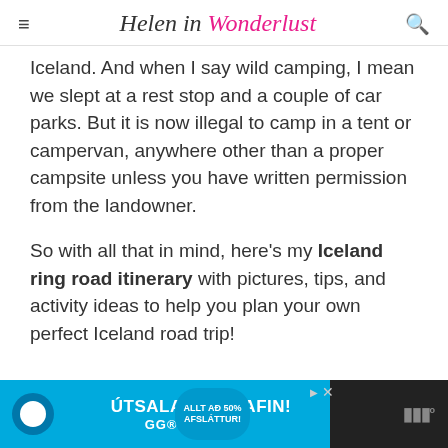Helen in Wonderlust
Iceland. And when I say wild camping, I mean we slept at a rest stop and a couple of car parks. But it is now illegal to camp in a tent or campervan, anywhere other than a proper campsite unless you have written permission from the landowner.
So with all that in mind, here's my Iceland ring road itinerary with pictures, tips, and activity ideas to help you plan your own perfect Iceland road trip!
[Figure (other): Advertisement banner for GG Sport sale - 'ÚTSALAN ER HAFIN!' in blue background]